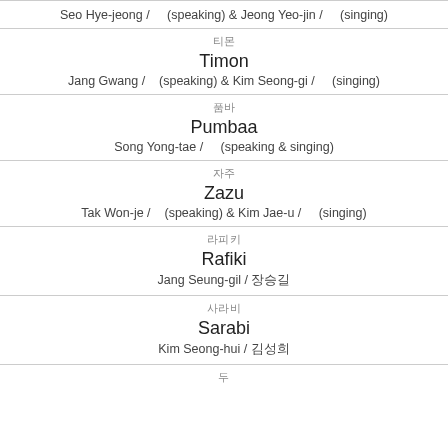| Seo Hye-jeong / | (speaking) & Jeong Yeo-jin / | (singing) |
| 티몬 |  |  |
| Timon |  |  |
| Jang Gwang / | (speaking) & Kim Seong-gi / | (singing) |
| 품바 |  |  |
| Pumbaa |  |  |
| Song Yong-tae / | (speaking & singing) |  |
| 자주 |  |  |
| Zazu |  |  |
| Tak Won-je / | (speaking) & Kim Jae-u / | (singing) |
| 라피키 |  |  |
| Rafiki |  |  |
| Jang Seung-gil / 장승길 |  |  |
| 사라비 |  |  |
| Sarabi |  |  |
| Kim Seong-hui / 김성희 |  |  |
| 두 |  |  |